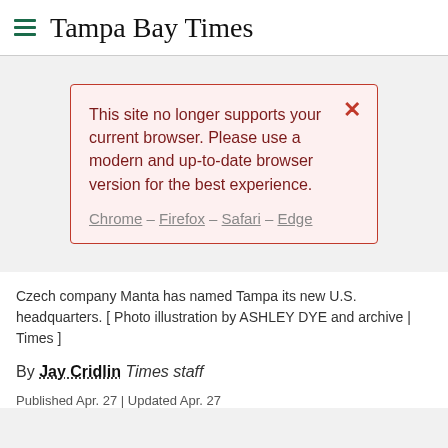Tampa Bay Times
[Figure (screenshot): Browser compatibility warning dialog box with red border and light pink background. Text: 'This site no longer supports your current browser. Please use a modern and up-to-date browser version for the best experience.' Links: Chrome – Firefox – Safari – Edge. Red X close button in top right.]
Czech company Manta has named Tampa its new U.S. headquarters. [ Photo illustration by ASHLEY DYE and archive | Times ]
By Jay Cridlin Times staff
Published Apr. 27 | Updated Apr. 27